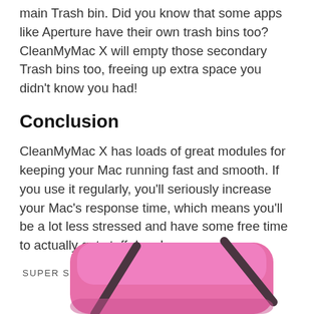main Trash bin. Did you know that some apps like Aperture have their own trash bins too? CleanMyMac X will empty those secondary Trash bins too, freeing up extra space you didn't know you had!
Conclusion
CleanMyMac X has loads of great modules for keeping your Mac running fast and smooth. If you use it regularly, you'll seriously increase your Mac's response time, which means you'll be a lot less stressed and have some free time to actually get stuff done!
SUPER SLOW TO EXTRA GO
[Figure (illustration): Partial view of a pink laptop bag with dark straps, cropped at the bottom of the page]